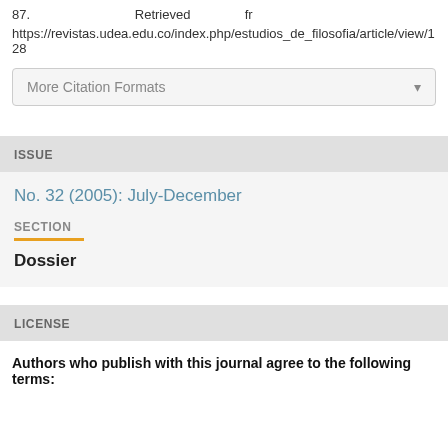87.                                Retrieved              fr
https://revistas.udea.edu.co/index.php/estudios_de_filosofia/article/view/128
More Citation Formats
ISSUE
No. 32 (2005): July-December
SECTION
Dossier
LICENSE
Authors who publish with this journal agree to the following terms: